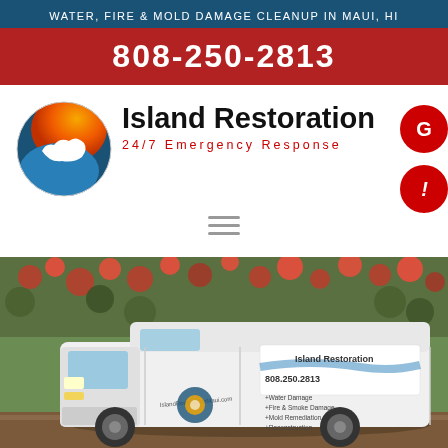WATER, FIRE & MOLD DAMAGE CLEANUP IN MAUI, HI
808-250-2813
[Figure (logo): Island Restoration company logo with globe graphic showing Hawaii island silhouette]
Island Restoration
24/7 Emergency Response
[Figure (photo): Island Restoration white service van parked in front of red flowering foliage. Van displays company logo, phone number 808.250.2813, and services: Water Damage, Fire & Smoke Damage, Mold Remediation, Reconstruction]